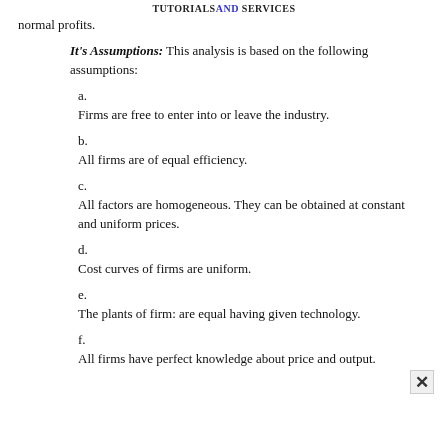TUTORIALS AND SERVICES
normal profits.
It's Assumptions: This analysis is based on the following assumptions:
a.
Firms are free to enter into or leave the industry.
b.
All firms are of equal efficiency.
c.
All factors are homogeneous. They can be obtained at constant and uniform prices.
d.
Cost curves of firms are uniform.
e.
The plants of firm: are equal having given technology.
f.
All firms have perfect knowledge about price and output.